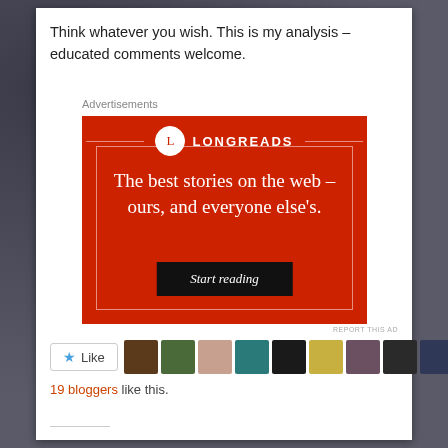Think whatever you wish. This is my analysis –educated comments welcome.
Advertisements
[Figure (illustration): Longreads advertisement on red background with tagline 'The best stories on the web – ours, and everyone else's.' and a 'Start reading' black button]
REPORT THIS AD
Like (button with star icon) followed by 9 blogger avatar thumbnails
19 bloggers like this.